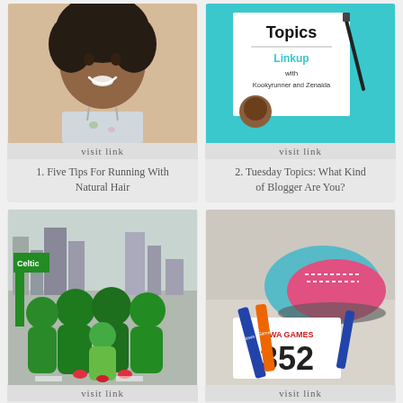[Figure (photo): Young Black woman with natural hair smiling, posing for photo]
visit link
1. Five Tips For Running With Natural Hair
[Figure (photo): Tuesday Topics Linkup graphic with Kookyrunner and Zenaida on teal background]
visit link
2. Tuesday Topics: What Kind of Blogger Are You?
[Figure (photo): Group of people in green full-body costumes at a race event with city skyline background]
visit link
4. Spring Race Plans
[Figure (photo): Iowa Winter Games 5K race recap image showing running shoes and bib number 352 with Iowa Games ribbons]
visit link
5. Winter Iowa Games 5K